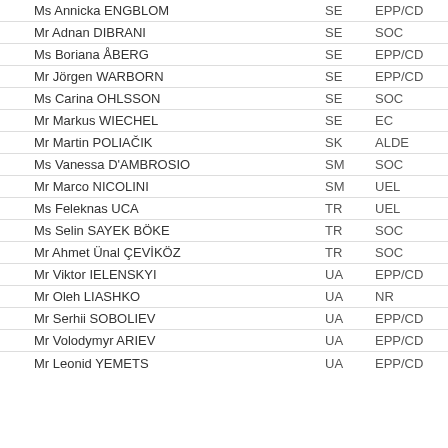Ms Annicka ENGBLOM | SE | EPP/CD | red-x
Mr Adnan DIBRANI | SE | SOC | red-x
Ms Boriana ÅBERG | SE | EPP/CD | yellow-circle
Mr Jörgen WARBORN | SE | EPP/CD | green-check
Ms Carina OHLSSON | SE | SOC | red-x
Mr Markus WIECHEL | SE | EC | green-check
Mr Martin POLIAČIK | SK | ALDE | yellow-circle
Ms Vanessa D'AMBROSIO | SM | SOC | red-x
Mr Marco NICOLINI | SM | UEL | red-x
Ms Feleknas UCA | TR | UEL | red-x
Ms Selin SAYEK BÖKE | TR | SOC | red-x
Mr Ahmet Ünal ÇEVİKÖZ | TR | SOC | green-check
Mr Viktor IELENSKYI | UA | EPP/CD | green-check
Mr Oleh LIASHKO | UA | NR | green-check
Mr Serhii SOBOLIEV | UA | EPP/CD | green-check
Mr Volodymyr ARIEV | UA | EPP/CD | green-check
Mr Leonid YEMETS | UA | EPP/CD | green-check